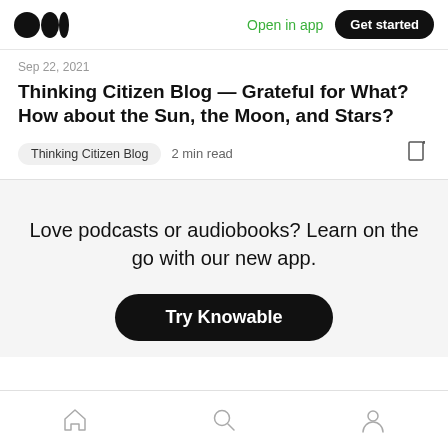Open in app | Get started
Sep 22, 2021
Thinking Citizen Blog — Grateful for What? How about the Sun, the Moon, and Stars?
Thinking Citizen Blog · 2 min read
Love podcasts or audiobooks? Learn on the go with our new app.
Try Knowable
Home | Search | Profile